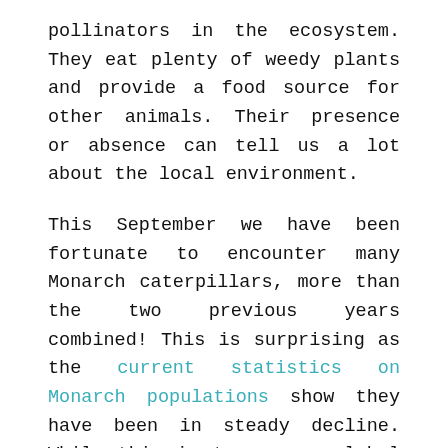pollinators in the ecosystem. They eat plenty of weedy plants and provide a food source for other animals. Their presence or absence can tell us a lot about the local environment.
This September we have been fortunate to encounter many Monarch caterpillars, more than the two previous years combined! This is surprising as the current statistics on Monarch populations show they have been in steady decline. While this is true as a global issue, we help the children focus on what positive influence we can have in our local Moraine Farm environment. Sharing about negative global issues with children, especially those younger than fourth grade can be too abstract and overwhelming for them. It can have the opposite effect than is intended, leading them to be less caring about the environment and more fearful and